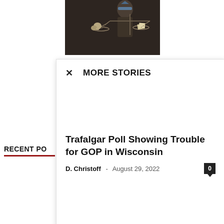[Figure (illustration): Dark illustration showing skulls on a scale of justice with a blindfolded figure, appearing to be a newspaper or news website header image]
MORE STORIES
Trafalgar Poll Showing Trouble for GOP in Wisconsin
D. Christoff - August 29, 2022
RECENT PO
Trump Blasts FBI, DOJ on Social Media for 'Election Interference'